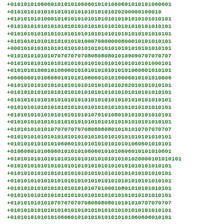+010101010606010101010606010101060601010101060601
+010101010101010101010101010101020200000100010
+010101010100010101010101010101010101010101010101
+010101010101010101010101010101010101010101010101
+010101010101010101010101010101010101010101010101
+010101010101010101010100070000000800010101010101
+000101010101010101010101010101010101010101010101
+010101010101070707070708080808010109090707070707
+010101010101010101010101010101010101010101000101
+010101010001010606010101010101010101060601010101
+060606010106060101010106060101010606010101010606
+010101010101010101010101010101010202010101010101
+010101010101010101010101010101010101010101010101
+010101010101010101010101010101010101010101010101
+010101010101010101010101010101010101010101010101
+010101010101010101010101070101080101010101010101
+010101010101010101010101010101010101010101010101
+010101010101070707070708080808010101010707070707
+010101010101010101010101010101010101010101010101
+010101010101010606010101010101010101060601010101
+010606010106060101010106060101010606010101010666
+010101010101010101010101010101010101020000101010101
+010101010101010101010101010101010101010101010101
+010101010101010101010101010101010101010101010101
+010101010101010101010101010101010101010101010101
+010101010101010101010101070100010801010101010101
+010101010101010101010101010101010101010101010101
+010101010101070707070708080808010101010707070707
+010101010101010101010101010101010101010101010101
+010101010101010606010101010101010101060606010101